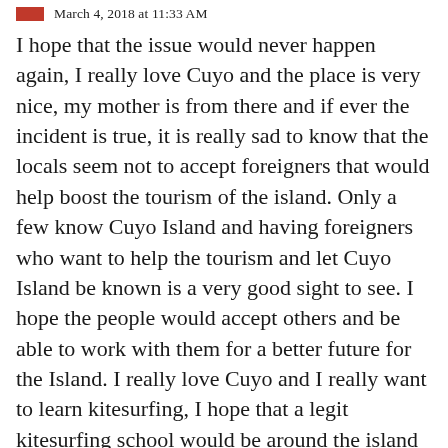March 4, 2018 at 11:33 AM
I hope that the issue would never happen again, I really love Cuyo and the place is very nice, my mother is from there and if ever the incident is true, it is really sad to know that the locals seem not to accept foreigners that would help boost the tourism of the island. Only a few know Cuyo Island and having foreigners who want to help the tourism and let Cuyo Island be known is a very good sight to see. I hope the people would accept others and be able to work with them for a better future for the Island. I really love Cuyo and I really want to learn kitesurfing, I hope that a legit kitesurfing school would be around the island like what you may have planned. I hope that Cuyo won't be affected by the issue, but learn from it. Thank You for visiting the island and your videos were